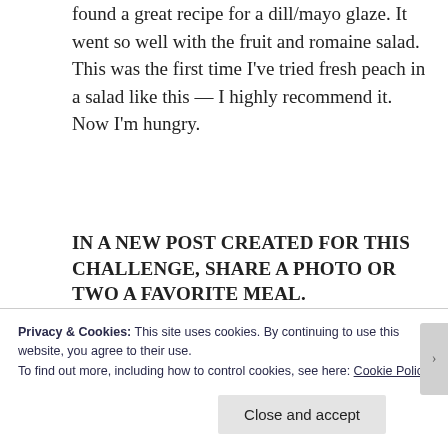found a great recipe for a dill/mayo glaze. It went so well with the fruit and romaine salad. This was the first time I've tried fresh peach in a salad like this — I highly recommend it. Now I'm hungry.
IN A NEW POST CREATED FOR THIS CHALLENGE, SHARE A PHOTO OR TWO A FAVORITE MEAL.
Everyone is welcome to participate, even if your
Privacy & Cookies: This site uses cookies. By continuing to use this website, you agree to their use.
To find out more, including how to control cookies, see here: Cookie Policy